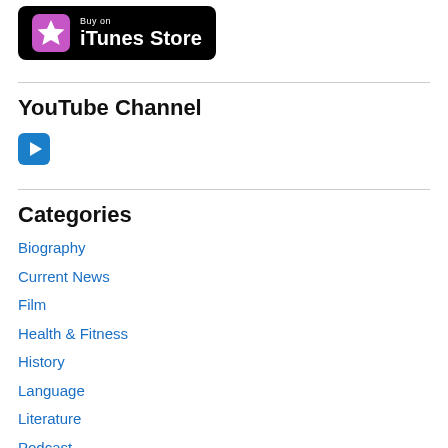[Figure (logo): Buy on iTunes Store badge — black rounded rectangle with pink star icon and white text]
YouTube Channel
[Figure (logo): YouTube play button icon — blue rounded square with white triangle play arrow]
Categories
Biography
Current News
Film
Health & Fitness
History
Language
Literature
Podcast
Politi…